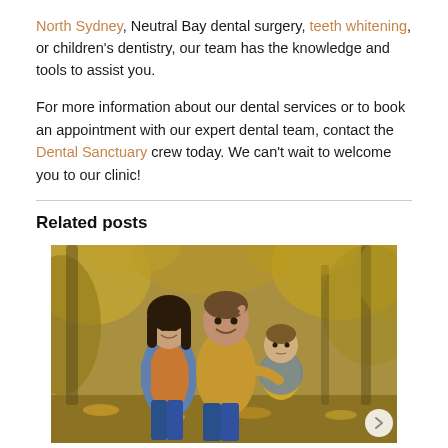North Sydney, Neutral Bay dental surgery, teeth whitening, or children's dentistry, our team has the knowledge and tools to assist you.
For more information about our dental services or to book an appointment with our expert dental team, contact the Dental Sanctuary crew today. We can't wait to welcome you to our clinic!
Related posts
[Figure (photo): A smiling family of three — a woman in a denim jacket, a man in a yellow sweater holding a baby — photographed outdoors in an autumn forest setting with golden foliage.]